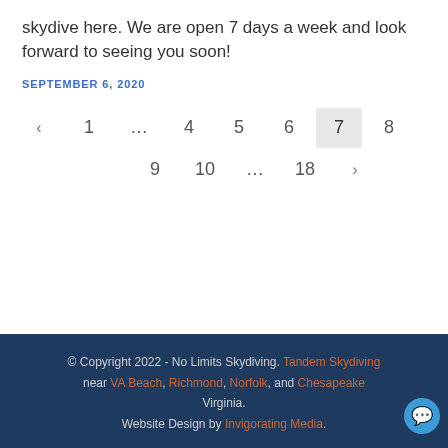skydive here. We are open 7 days a week and look forward to seeing you soon!
SEPTEMBER 6, 2020
‹ 1 … 4 5 6 7 8 9 10 … 18 ›
© Copyright 2022 - No Limits Skydiving. Tandem Skydiving near VA Beach, Richmond, Norfolk, and Chesapeake Virginia. Website Design by Invigorating Media.